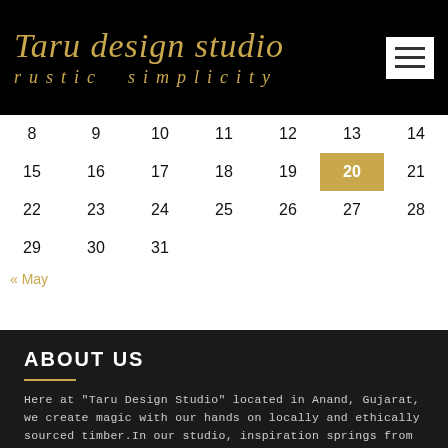Taru design studio
rustic simplicity
| 8 | 9 | 10 | 11 | 12 | 13 | 14 |
| 15 | 16 | 17 | 18 | 19 | 20 | 21 |
| 22 | 23 | 24 | 25 | 26 | 27 | 28 |
| 29 | 30 | 31 |  |  |  |  |
« May
ABOUT US
Here at "Taru Design Studio" located in Anand, Gujarat, we create magic with our hands on locally and ethically sourced timber. In our studio, inspiration springs from